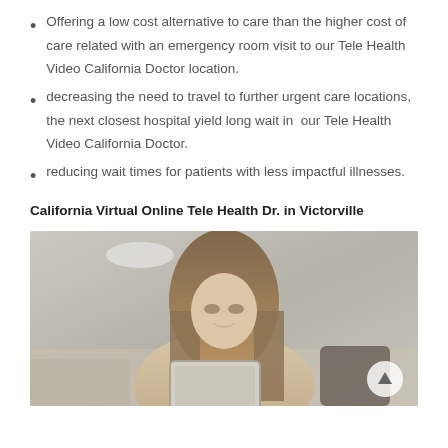Offering a low cost alternative to care than the higher cost of care related with an emergency room visit to our Tele Health Video California Doctor location.
decreasing the need to travel to further urgent care locations, the next closest hospital yield long wait in our Tele Health Video California Doctor.
reducing wait times for patients with less impactful illnesses.
California Virtual Online Tele Health Dr. in Victorville
[Figure (photo): Woman smiling and looking at a tablet device while sitting on a couch at home]